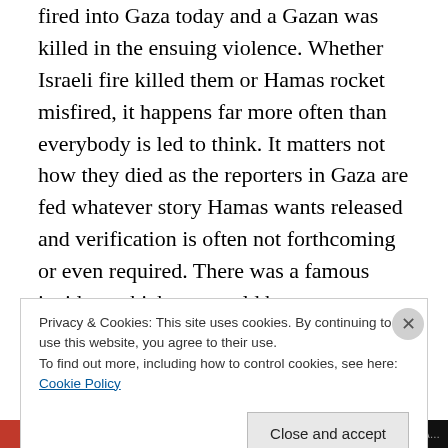fired into Gaza today and a Gazan was killed in the ensuing violence. Whether Israeli fire killed them or Hamas rocket misfired, it happens far more often than everybody is led to think. It matters not how they died as the reporters in Gaza are fed whatever story Hamas wants released and verification is often not forthcoming or even required. There was a famous incident which we would bet you remember. The initial story was that Israel fired and struck a Gazan Hospital killing many patients etcetera. Well, the resulting investigation led to a different news story which came out quickly like the next day where it
Privacy & Cookies: This site uses cookies. By continuing to use this website, you agree to their use.
To find out more, including how to control cookies, see here: Cookie Policy
Close and accept